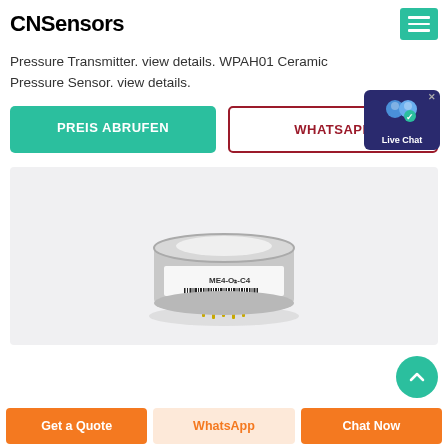CNSensors
Pressure Transmitter. view details. WPAH01 Ceramic Pressure Sensor. view details.
[Figure (screenshot): Two buttons: green 'PREIS ABRUFEN' button and dark-red outlined 'WHATSAPP' button]
[Figure (photo): Product photo of a small cylindrical sensor component (ME4-series electrochemical gas sensor) with gold pins on a light gray background]
Get a Quote | WhatsApp | Chat Now